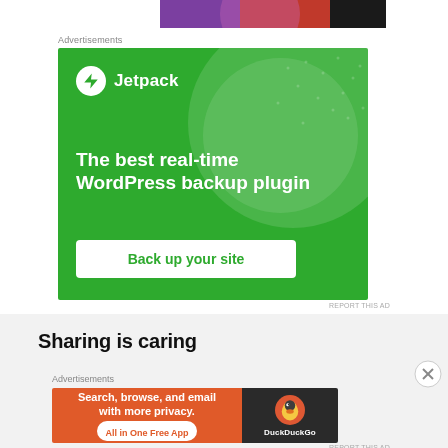[Figure (illustration): Cropped top of an illustration showing colorful characters in purple, red, and black colors]
Advertisements
[Figure (screenshot): Jetpack advertisement banner on green background. Shows Jetpack logo and text: The best real-time WordPress backup plugin. Button: Back up your site]
REPORT THIS AD
Sharing is caring
Advertisements
[Figure (screenshot): DuckDuckGo advertisement. Orange left panel: Search, browse, and email with more privacy. All in One Free App. Dark right panel with DuckDuckGo logo.]
REPORT THIS AD